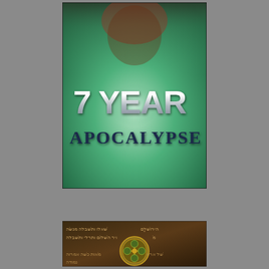[Figure (illustration): Book cover for '7 Year Apocalypse' featuring a large metallic silver text '7 YEAR' and dark teal/navy 'APOCALYPSE' text overlaid on a green atmospheric background with a bearded figure faintly visible at the top.]
[Figure (illustration): Partial view of a second book or manuscript cover with Hebrew or ancient script text and decorative gold/green ornamental medallion design on dark brown background.]